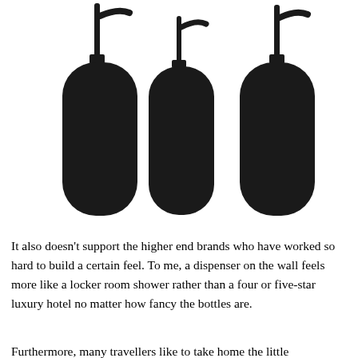[Figure (photo): Three black pump dispenser bottles with white script text labels rotated vertically. Left bottle reads 'Shampoo', middle bottle reads 'Conditioner', right bottle reads 'Body Wash'. All bottles are matte black with black pump tops.]
It also doesn't support the higher end brands who have worked so hard to build a certain feel. To me, a dispenser on the wall feels more like a locker room shower rather than a four or five-star luxury hotel no matter how fancy the bottles are.
Furthermore, many travellers like to take home the little